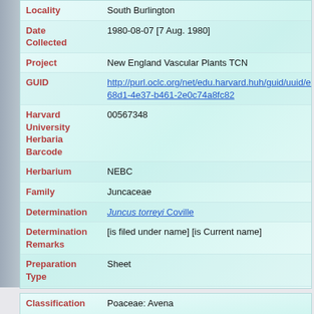| Field | Value |
| --- | --- |
| Locality | South Burlington |
| Date Collected | 1980-08-07 [7 Aug. 1980] |
| Project | New England Vascular Plants TCN |
| GUID | http://purl.oclc.org/net/edu.harvard.huh/guid/uuid/eco68d1-4e37-b461-2e0c74a8fc82 |
| Harvard University Herbaria Barcode | 00567348 |
| Herbarium | NEBC |
| Family | Juncaceae |
| Determination | Juncus torreyi Coville |
| Determination Remarks | [is filed under name] [is Current name] |
| Preparation Type | Sheet |
| Preparation Method | Pressed |
| Field | Value |
| --- | --- |
| Classification | Poaceae: Avena |